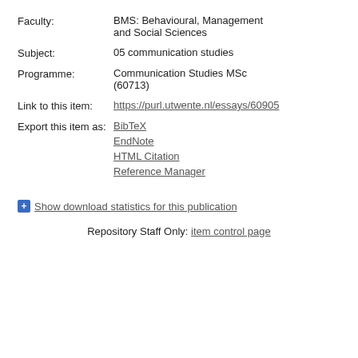Faculty: BMS: Behavioural, Management and Social Sciences
Subject: 05 communication studies
Programme: Communication Studies MSc (60713)
Link to this item: https://purl.utwente.nl/essays/60905
Export this item as: BibTeX, EndNote, HTML Citation, Reference Manager
+ Show download statistics for this publication
Repository Staff Only: item control page